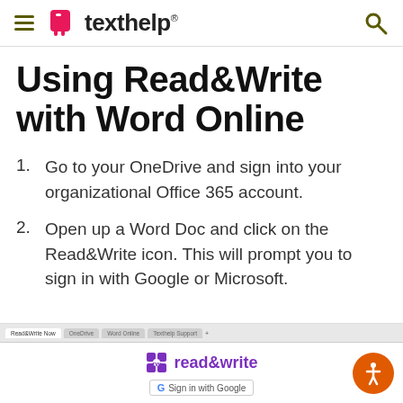texthelp
Using Read&Write with Word Online
1. Go to your OneDrive and sign into your organizational Office 365 account.
2. Open up a Word Doc and click on the Read&Write icon. This will prompt you to sign in with Google or Microsoft.
[Figure (screenshot): Screenshot of a browser showing the Read&Write sign-in page with the Read&Write logo and a Google sign-in prompt]